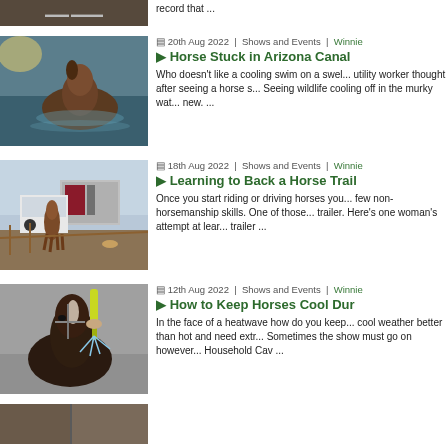[Figure (photo): Partial horse image at top, cropped]
record that ...
[Figure (photo): Horse swimming in water, brown horse with head above water]
20th Aug 2022 | Shows and Events | Winnie
Horse Stuck in Arizona Canal
Who doesn't like a cooling swim on a swel... utility worker thought after seeing a horse s... Seeing wildlife cooling off in the murky wat... new. ...
[Figure (photo): Horse and truck near trailer in dirt lot]
18th Aug 2022 | Shows and Events | Winnie
Learning to Back a Horse Trail
Once you start riding or driving horses you... few non-horsemanship skills. One of those... trailer. Here's one woman's attempt at lear... trailer ...
[Figure (photo): Dark horse being hosed down with water]
12th Aug 2022 | Shows and Events | Winnie
How to Keep Horses Cool Dur
In the face of a heatwave how do you keep... cool weather better than hot and need extr... Sometimes the show must go on however... Household Cav ...
[Figure (photo): Partial image at bottom, cropped]